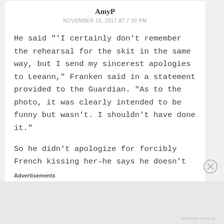AmyP
NOVEMBER 16, 2017 AT 7:38 PM
He said "'I certainly don't remember the rehearsal for the skit in the same way, but I send my sincerest apologies to Leeann," Franken said in a statement provided to the Guardian. "As to the photo, it was clearly intended to be funny but wasn't. I shouldn't have done it."
So he didn't apologize for forcibly French kissing her–he says he doesn't remember it.
Advertisements
REPORT THIS AD